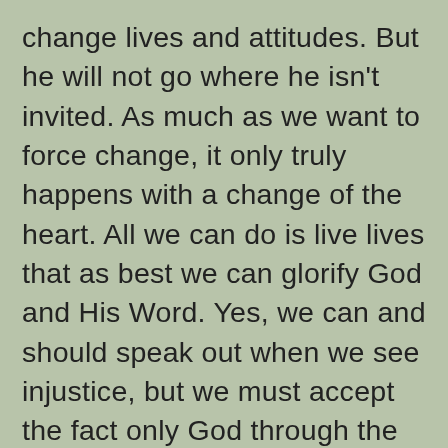change lives and attitudes. But he will not go where he isn't invited. As much as we want to force change, it only truly happens with a change of the heart. All we can do is live lives that as best we can glorify God and His Word. Yes, we can and should speak out when we see injustice, but we must accept the fact only God through the Holy Spirit can truly change and transform lives. But that is still happening: God is not done working in men and women's lives yet. What the Holy Spirit began with the disciples 2000 years ago is still available and happening today. But we must admit Satan is still alive and well as well. He is still deceiving and